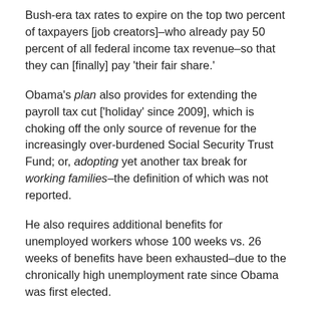Bush-era tax rates to expire on the top two percent of taxpayers [job creators]–who already pay 50 percent of all federal income tax revenue–so that they can [finally] pay 'their fair share.'
Obama's plan also provides for extending the payroll tax cut ['holiday' since 2009], which is choking off the only source of revenue for the increasingly over-burdened Social Security Trust Fund; or, adopting yet another tax break for working families–the definition of which was not reported.
He also requires additional benefits for unemployed workers whose 100 weeks vs. 26 weeks of benefits have been exhausted–due to the chronically high unemployment rate since Obama was first elected.
But, on the side of the 'ledger,' Obama wants to delay $400 billion of entitlement [Medicare and Medicaid] program savings and federal agency budget cuts until next year, essentially 'kicking the can' of congressional reforms to the tax code and retirement programs 'down the road' again–while immediately